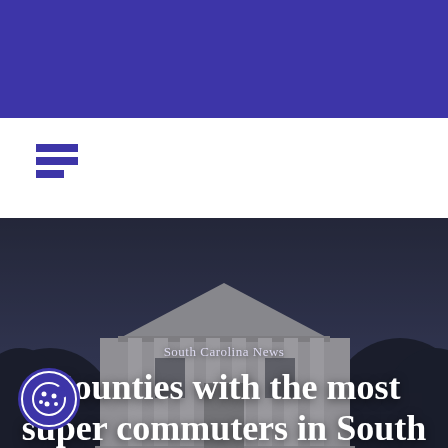[Figure (other): Blue header bar at top of page]
[Figure (other): Hamburger menu icon with three horizontal bars in purple/indigo color on white background]
[Figure (photo): Hero image of a white classical government building with columns (likely a courthouse or state capitol) against a dark twilight sky, with trees on either side]
South Carolina News
Counties with the most super commuters in South